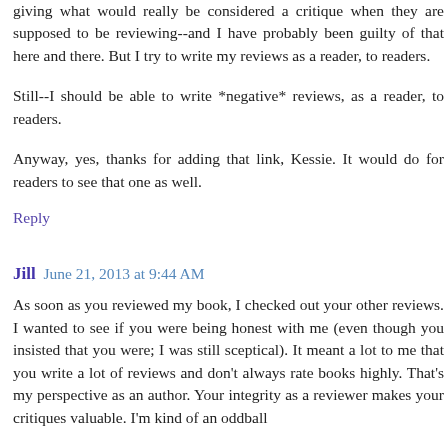giving what would really be considered a critique when they are supposed to be reviewing--and I have probably been guilty of that here and there. But I try to write my reviews as a reader, to readers.
Still--I should be able to write *negative* reviews, as a reader, to readers.
Anyway, yes, thanks for adding that link, Kessie. It would do for readers to see that one as well.
Reply
Jill   June 21, 2013 at 9:44 AM
As soon as you reviewed my book, I checked out your other reviews. I wanted to see if you were being honest with me (even though you insisted that you were; I was still sceptical). It meant a lot to me that you write a lot of reviews and don't always rate books highly. That's my perspective as an author. Your integrity as a reviewer makes your critiques valuable. I'm kind of an oddball